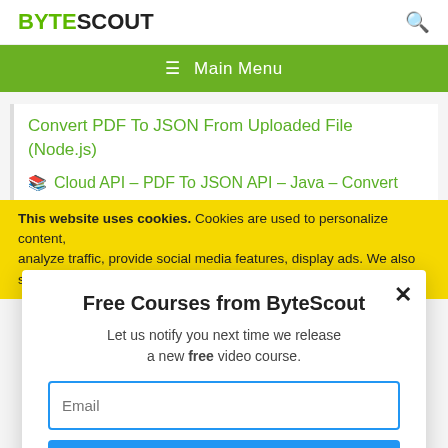BYTESCOUT
≡  Main Menu
Convert PDF To JSON From Uploaded File (Node.js)
Cloud API – PDF To JSON API – Java – Convert
This website uses cookies. Cookies are used to personalize content, analyze traffic, provide social media features, display ads. We also share
Free Courses from ByteScout
Let us notify you next time we release a new free video course.
Email
SUBSCRIBE